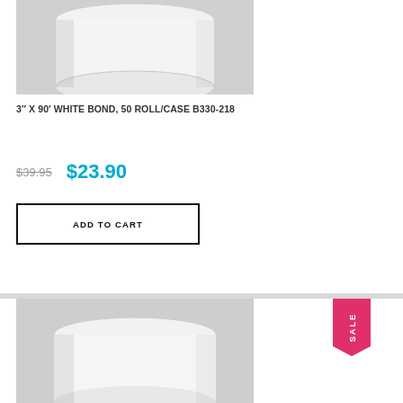[Figure (photo): White paper roll on gray background, top portion showing top and side of roll]
3" X 90' WHITE BOND, 50 ROLL/CASE B330-218
$39.95  $23.90
ADD TO CART
[Figure (photo): White paper roll on gray background with SALE badge, lower card product image]